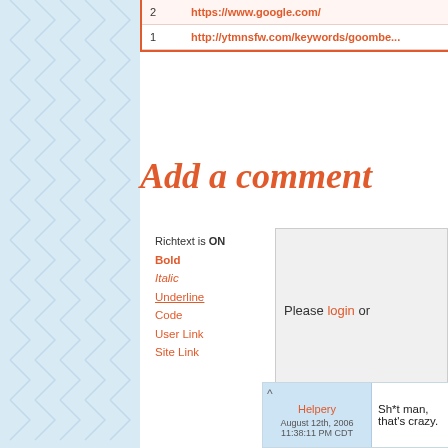| # | URL |
| --- | --- |
| 2 | https://www.google.com/ |
| 1 | http://ytmnsfw.com/keywords/goombe... |
Add a comment
Richtext is ON
Bold
Italic
Underline
Code
User Link
Site Link
Please login or
SUBMIT  0 of 2000 characters used.
^ Helpery
August 12th, 2006
11:38:11 PM CDT
Sh*t man, that's crazy.